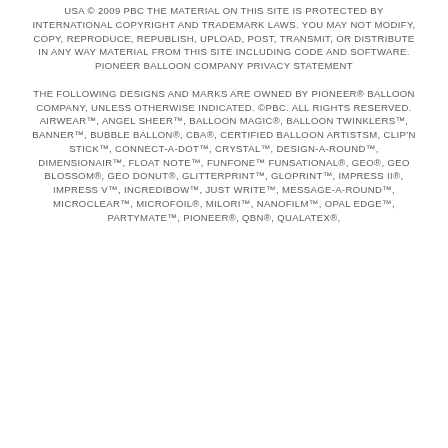USA © 2009 PBC THE MATERIAL ON THIS SITE IS PROTECTED BY INTERNATIONAL COPYRIGHT AND TRADEMARK LAWS. YOU MAY NOT MODIFY, COPY, REPRODUCE, REPUBLISH, UPLOAD, POST, TRANSMIT, OR DISTRIBUTE IN ANY WAY MATERIAL FROM THIS SITE INCLUDING CODE AND SOFTWARE. PIONEER BALLOON COMPANY PRIVACY STATEMENT
THE FOLLOWING DESIGNS AND MARKS ARE OWNED BY PIONEER® BALLOON COMPANY, UNLESS OTHERWISE INDICATED. ©PBC. ALL RIGHTS RESERVED. AIRWEAR™, ANGEL SHEER™, BALLOON MAGIC®, BALLOON TWINKLERS™, BANNER™, BUBBLE BALLON®, CBA®, CERTIFIED BALLOON ARTISTSM, CLIP'N STICK™, CONNECT-A-DOT™, CRYSTAL™, DESIGN-A-ROUND™, DIMENSIONAIR™, FLOAT NOTE™, FUNFONE™ FUNSATIONAL®, GEO®, GEO BLOSSOM®, GEO DONUT®, GLITTERPRINT™, GLOPRINT™, IMPRESS II®, IMPRESS V™, INCREDIBOW™, JUST WRITE™, MESSAGE-A-ROUND™, MICROCLEAR™, MICROFOIL®, MILORI™, NANOFILM™, OPAL EDGE™, PARTYMATE™, PIONEER®, QBN®, QUALATEX®,